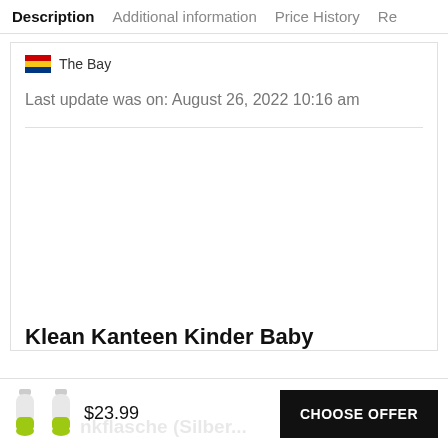Description | Additional information | Price History | Re
The Bay
Last update was on: August 26, 2022 10:16 am
Klean Kanteen Kinder Baby
$23.99
CHOOSE OFFER